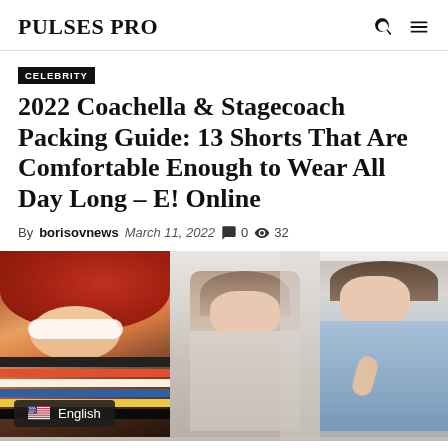PULSES PRO
CELEBRITY
2022 Coachella & Stagecoach Packing Guide: 13 Shorts That Are Comfortable Enough to Wear All Day Long – E! Online
By borisovnews March 11, 2022 0 32
[Figure (photo): Composite image of three women: left shows a woman with red hat and white sunglasses wearing a striped top; center shows a woman with long hair in a light outfit; right shows a woman in a light blue denim outfit.]
English